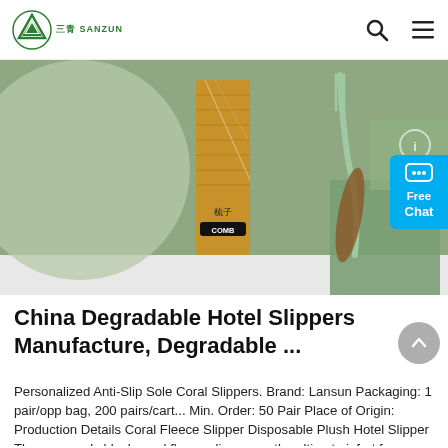SANZUN logo and navigation
[Figure (photo): Product photo showing eco-friendly hotel amenities including a bamboo comb and fork/utensil on a green background with geometric shapes]
China Degradable Hotel Slippers Manufacture, Degradable ...
Personalized Anti-Slip Sole Coral Slippers. Brand: Lansun Packaging: 1 pair/opp bag, 200 pairs/cart... Min. Order: 50 Pair Place of Origin: Production Details Coral Fleece Slipper Disposable Plush Hotel Slipper These snuggly black coral fleece slipper are the ultimate infort for your feet Slip on at the end of long tiring day to experience super toasty warm